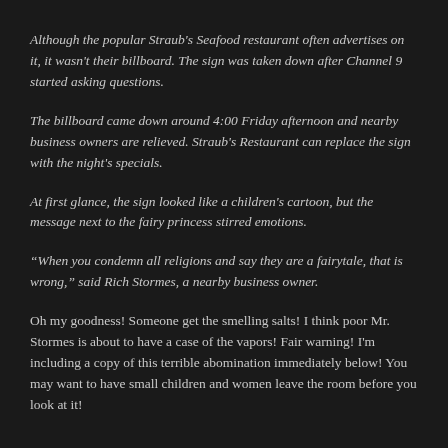Although the popular Straub's Seafood restaurant often advertises on it, it wasn't their billboard. The sign was taken down after Channel 9 started asking questions.
The billboard came down around 4:00 Friday afternoon and nearby business owners are relieved. Straub's Restaurant can replace the sign with the night's specials.
At first glance, the sign looked like a children's cartoon, but the message next to the fairy princess stirred emotions.
“When you condemn all religions and say they are a fairytale, that is wrong,” said Rich Stormes, a nearby business owner.
Oh my goodness! Someone get the smelling salts! I think poor Mr. Stormes is about to have a case of the vapors! Fair warning! I'm including a copy of this terrible abomination immediately below! You may want to have small children and women leave the room before you look at it!